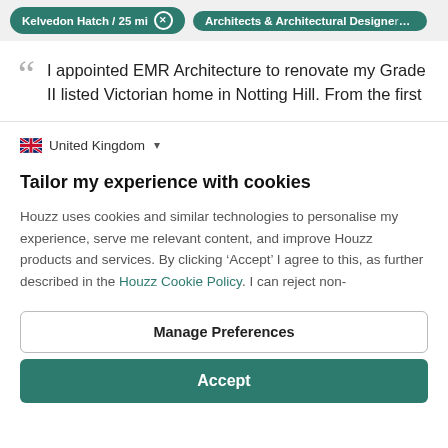Kelvedon Hatch / 25 mi   Architects & Architectural Designers
I appointed EMR Architecture to renovate my Grade II listed Victorian home in Notting Hill. From the first
United Kingdom
Tailor my experience with cookies
Houzz uses cookies and similar technologies to personalise my experience, serve me relevant content, and improve Houzz products and services. By clicking ‘Accept’ I agree to this, as further described in the Houzz Cookie Policy. I can reject non-
Manage Preferences
Accept